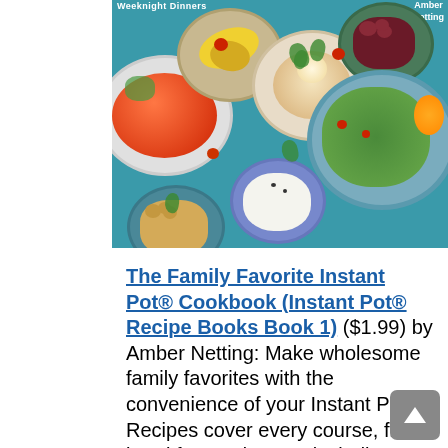[Figure (photo): Book cover showing Mediterranean food bowls (tomatoes, hummus, tabbouleh, olives, chickpeas, yogurt, lemon) on a teal background with text 'Weeknight Dinners' and author name 'Amber Netting']
The Family Favorite Instant Pot® Cookbook (Instant Pot® Recipe Books Book 1) ($1.99) by Amber Netting: Make wholesome family favorites with the convenience of your Instant Pot®! Recipes cover every course, from breakfast to dessert, including dishes perfect